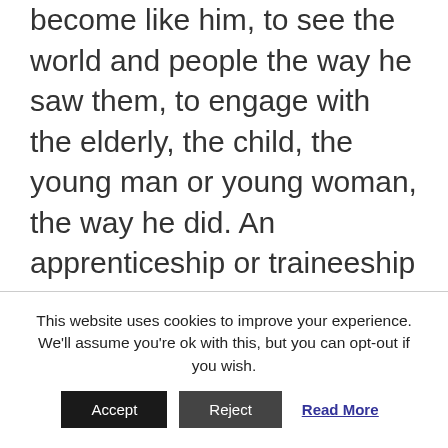become like him, to see the world and people the way he saw them, to engage with the elderly, the child, the young man or young woman, the way he did. An apprenticeship or traineeship is more than learning how to hold tools, more than acquiring a basic set of skills; it is learning how to think, how to see things, how to analyse, interpret, and how to apply what is learned to new situations. Jesus wanted the disciples to experience or encounter God, God's nearness, in the way he did and to see the Divine in other people the way he did, not just people of their group, but all people.
This website uses cookies to improve your experience. We'll assume you're ok with this, but you can opt-out if you wish.